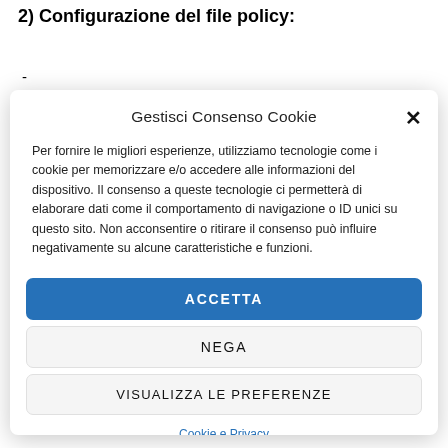2) Configurazione del file policy:
-
Gestisci Consenso Cookie
Per fornire le migliori esperienze, utilizziamo tecnologie come i cookie per memorizzare e/o accedere alle informazioni del dispositivo. Il consenso a queste tecnologie ci permetterà di elaborare dati come il comportamento di navigazione o ID unici su questo sito. Non acconsentire o ritirare il consenso può influire negativamente su alcune caratteristiche e funzioni.
ACCETTA
NEGA
VISUALIZZA LE PREFERENZE
Cookie e Privacy